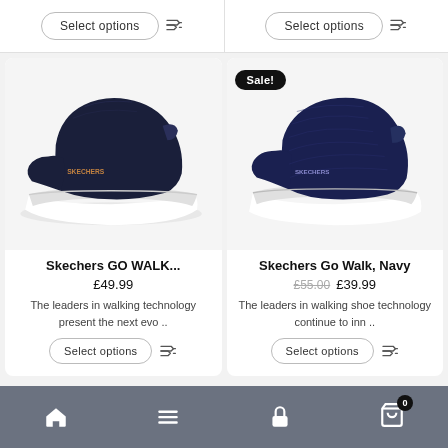[Figure (screenshot): Top row Select options buttons for two products above the fold]
[Figure (photo): Dark navy Skechers GO WALK slip-on shoe with white sole, left product card]
Skechers GO WALK...
£49.99
The leaders in walking technology present the next evo ..
[Figure (photo): Navy Skechers Go Walk shoe with mesh upper and white sole, right product card, Sale badge shown]
Skechers Go Walk, Navy
£55.00  £39.99
The leaders in walking shoe technology continue to inn ..
Home  Menu  Lock  Cart (0)